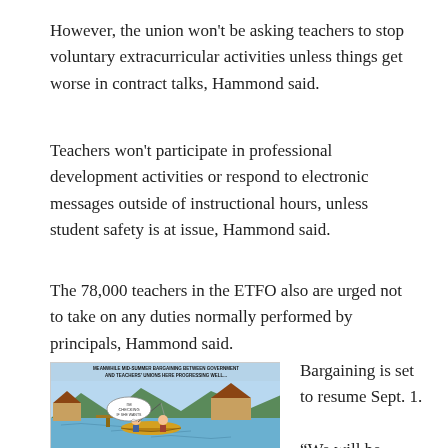However, the union won't be asking teachers to stop voluntary extracurricular activities unless things get worse in contract talks, Hammond said.
Teachers won't participate in professional development activities or respond to electronic messages outside of instructional hours, unless student safety is at issue, Hammond said.
The 78,000 teachers in the ETFO also are urged not to take on any duties normally performed by principals, Hammond said.
[Figure (illustration): A cartoon showing two people fishing in a boat on a lake with cabins in the background. Caption reads: MEANWHILE MID-SUMMER BARGAINING BETWEEN GOVERNMENT AND TEACHERS' UNIONS HERE PROGRESSING WELL... with a speech bubble saying 'I'M CHECKING IF SHE WANTS TALK...']
Bargaining is set to resume Sept. 1.
“We will be prepared for